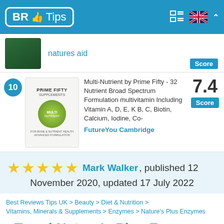BR Tips
natures aid
10 Multi-Nutrient by Prime Fifty - 32 Nutrient Broad Spectrum Formulation multivitamin Including Vitamin A, D, E, K B, C, Biotin, Calcium, Iodine, Co- FutureYou Cambridge Score: 7.4
★★★★★ Mark Walker, published 12 November 2020, updated 17 July 2022
Best Reviews Tips UK > Beauty > Diet & Nutrition > Vitamins, Minerals & Supplements > Enzymes > Nature's Plus Enzymes
Trend Nature's Plus Enzymes